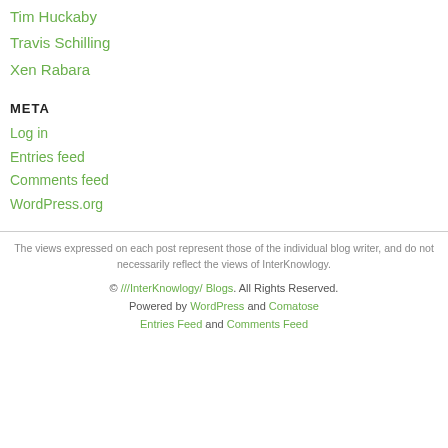Tim Huckaby
Travis Schilling
Xen Rabara
META
Log in
Entries feed
Comments feed
WordPress.org
The views expressed on each post represent those of the individual blog writer, and do not necessarily reflect the views of InterKnowlogy.
© ///InterKnowlogy/ Blogs. All Rights Reserved.
Powered by WordPress and Comatose
Entries Feed and Comments Feed